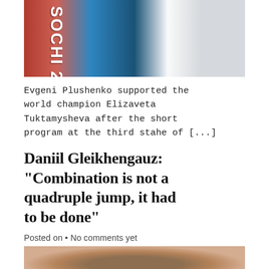[Figure (photo): Photo of Evgeni Plushenko in a red and blue Sochi 2014 jacket, top portion cropped]
Evgeni Plushenko supported the world champion Elizaveta Tuktamysheva after the short program at the third stahe of [...]
Daniil Gleikhengauz: “Combination is not a quadruple jump, it had to be done”
Posted on • No comments yet
[Figure (photo): Photo of a person with brown hair, blurred colorful background, bottom portion visible]